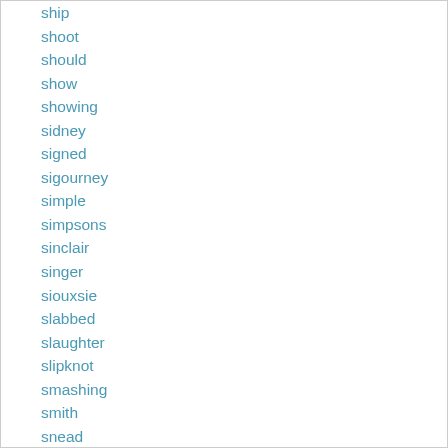ship
shoot
should
show
showing
sidney
signed
sigourney
simple
simpsons
sinclair
singer
siouxsie
slabbed
slaughter
slipknot
smashing
smith
snead
soccer
some
soundgarden
space
special